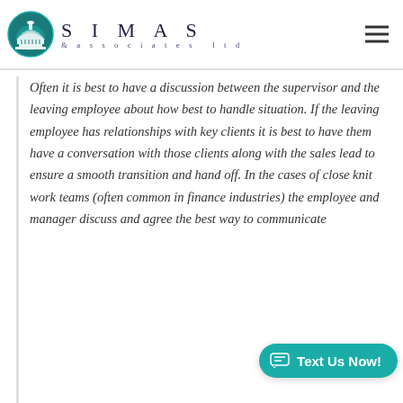[Figure (logo): SIMAS & associates ltd company logo with capitol dome icon in teal/blue circle]
Often it is best to have a discussion between the supervisor and the leaving employee about how best to handle situation. If the leaving employee has relationships with key clients it is best to have them have a conversation with those clients along with the sales lead to ensure a smooth transition and hand off. In the cases of close knit work teams (often common in finance industries) the employee and manager discuss and agree the best way to communicate